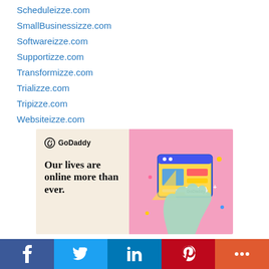Scheduleizze.com
SmallBusinessizze.com
Softwareizze.com
Supportizze.com
Transformizze.com
Trializze.com
Tripizze.com
Websiteizze.com
[Figure (illustration): GoDaddy advertisement banner. Left half has cream/beige background with GoDaddy logo and text 'Our lives are online more than ever.' Right half has pink background with a 3D illustration of a hand holding a website/browser window.]
f  (Twitter bird)  in  (Pinterest P)  +